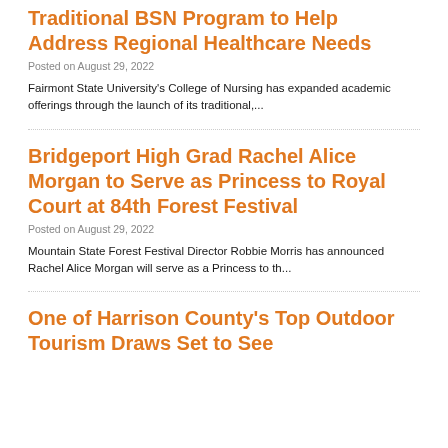Traditional BSN Program to Help Address Regional Healthcare Needs
Posted on August 29, 2022
Fairmont State University's College of Nursing has expanded academic offerings through the launch of its traditional,...
Bridgeport High Grad Rachel Alice Morgan to Serve as Princess to Royal Court at 84th Forest Festival
Posted on August 29, 2022
Mountain State Forest Festival Director Robbie Morris has announced Rachel Alice Morgan will serve as a Princess to th...
One of Harrison County's Top Outdoor Tourism Draws Set to See